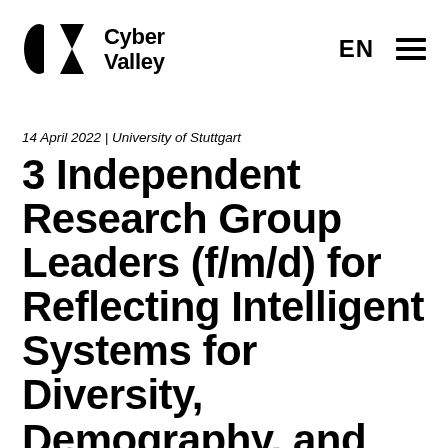[Figure (logo): Cyber Valley logo with geometric black shapes (half-circle and chevron/triangle) and bold text 'Cyber Valley']
EN ≡
14 April 2022 | University of Stuttgart
3 Independent Research Group Leaders (f/m/d) for Reflecting Intelligent Systems for Diversity, Demography, and